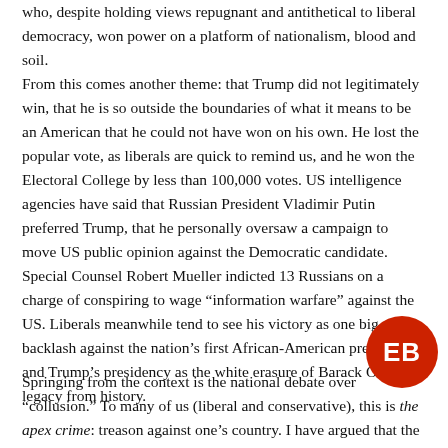who, despite holding views repugnant and antithetical to liberal democracy, won power on a platform of nationalism, blood and soil.
From this comes another theme: that Trump did not legitimately win, that he is so outside the boundaries of what it means to be an American that he could not have won on his own. He lost the popular vote, as liberals are quick to remind us, and he won the Electoral College by less than 100,000 votes. US intelligence agencies have said that Russian President Vladimir Putin preferred Trump, that he personally oversaw a campaign to move US public opinion against the Democratic candidate. Special Counsel Robert Mueller indicted 13 Russians on a charge of conspiring to wage “information warfare” against the US. Liberals meanwhile tend to see his victory as one big backlash against the nation’s first African-American president and Trump’s presidency as the white erasure of Barack Obama’s legacy from history.
Springing from the context is the national debate over “collusion.” To many of us (liberal and conservative), this is the apex crime: treason against one’s country. I have argued that the Russian meddling with Trump is bringing right...
[Figure (logo): Red circular logo with white letters EB]